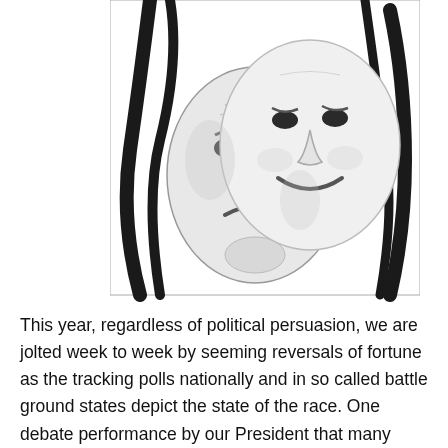[Figure (photo): Black and white photo of two theatrical masks — one depicting tragedy (sad, downturned mouth) and one depicting comedy (smiling, joyful expression), with black ribbon-like straps against a white background.]
This year, regardless of political persuasion, we are jolted week to week by seeming reversals of fortune as the tracking polls nationally and in so called battle ground states depict the state of the race. One debate performance by our President that many thought fell flat and the narrative shifts with mind numbing speed. In fact, it is a function of our democracy, one of its great...